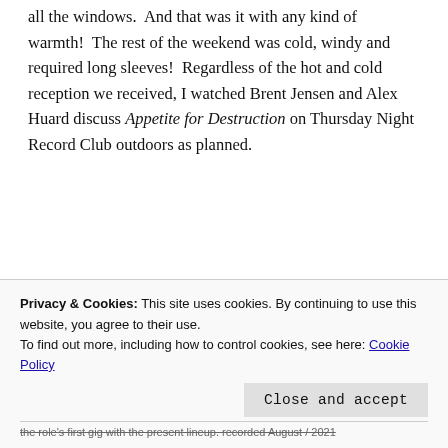all the windows. And that was it with any kind of warmth! The rest of the weekend was cold, windy and required long sleeves! Regardless of the hot and cold reception we received, I watched Brent Jensen and Alex Huard discuss Appetite for Destruction on Thursday Night Record Club outdoors as planned.
[Figure (photo): Outdoor photo showing a TV screen mounted on a fence/railing outdoors, displaying the Thursday Night Record Club video show with Brent Jensen on screen. Trees and a car are visible in the background. The TV screen shows 'Thursday Night Record Club' text and a caption reading 'Brent Jensen, Host, He Sleep Til Sudbury, Podcast'.]
Privacy & Cookies: This site uses cookies. By continuing to use this website, you agree to their use.
To find out more, including how to control cookies, see here: Cookie Policy
Close and accept
the role's first gig with the present lineup. recorded August / 2021